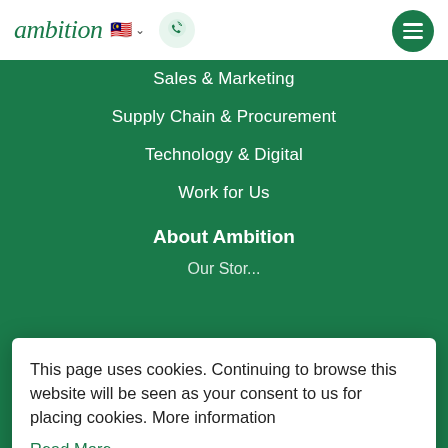ambition 🇲🇾 ∨ [phone] [menu]
Sales & Marketing
Supply Chain & Procurement
Technology & Digital
Work for Us
About Ambition
Our Stor...
This page uses cookies. Continuing to browse this website will be seen as your consent to us for placing cookies. More information
Read More
Got it!
Ambition Group Website